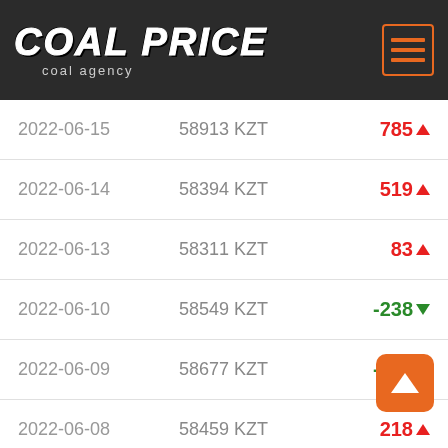COAL PRICE - coal agency
| Date | Price | Change |
| --- | --- | --- |
| 2022-06-15 | 58913 KZT | 785↑ |
| 2022-06-14 | 58394 KZT | 519↑ |
| 2022-06-13 | 58311 KZT | 83↑ |
| 2022-06-10 | 58549 KZT | -238↓ |
| 2022-06-09 | 58677 KZT | -128↓ |
| 2022-06-08 | 58459 KZT | 218↑ |
| 2022-06-07 | 58216 KZT | 24↑ |
| 2022-06-06 | 58404 KZT | -188↓ |